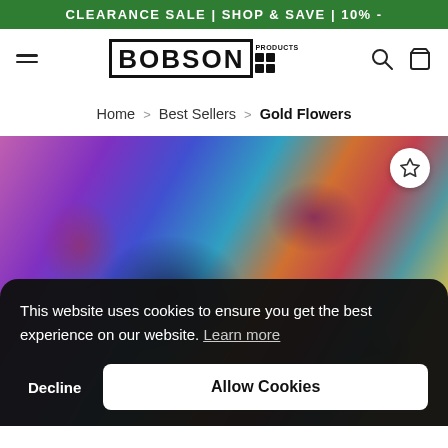CLEARANCE SALE | SHOP & SAVE | 10% -
[Figure (logo): Bobson Products logo with grid icon]
Home > Best Sellers > Gold Flowers
[Figure (photo): Colorful abstract art product image with purple, blue, and orange colors]
This website uses cookies to ensure you get the best experience on our website. Learn more
Decline
Allow Cookies